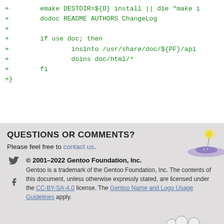+        emake DESTDIR=${D} install || die "make i
+        dodoc README AUTHORS ChangeLog
+
+        if use doc; then
+                insinto /usr/share/doc/${PF}/api
+                doins doc/html/*
+        fi
+}
QUESTIONS OR COMMENTS?
Please feel free to contact us.
© 2001–2022 Gentoo Foundation, Inc. Gentoo is a trademark of the Gentoo Foundation, Inc. The contents of this document, unless otherwise expressly stated, are licensed under the CC-BY-SA-4.0 license. The Gentoo Name and Logo Usage Guidelines apply.